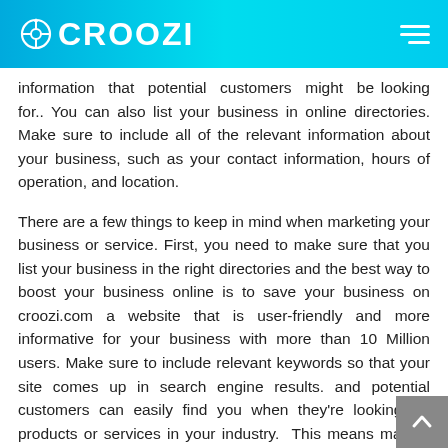CROOZI
information that potential customers might be looking for.. You can also list your business in online directories. Make sure to include all of the relevant information about your business, such as your contact information, hours of operation, and location.
There are a few things to keep in mind when marketing your business or service. First, you need to make sure that you list your business in the right directories and the best way to boost your business online is to save your business on croozi.com a website that is user-friendly and more informative for your business with more than 10 Million users. Make sure to include relevant keywords so that your site comes up in search engine results. and potential customers can easily find you when they're looking for products or services in your industry. This means making sure that your business is easy to find and navigate. Croozi will help you to interact with your followers and build